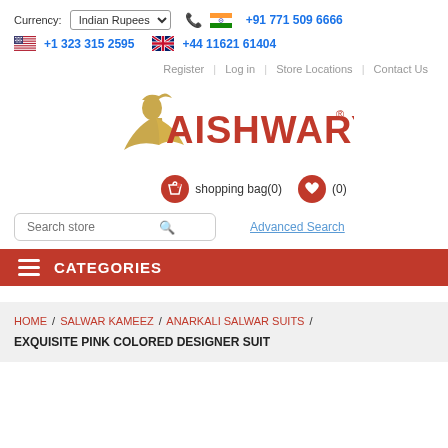Currency: Indian Rupees | +91 771 509 6666 | +1 323 315 2595 | +44 11621 61404
Register | Log in | Store Locations | Contact Us
[Figure (logo): Aishwarya brand logo with stylized woman figure and red bold text AISHWARYA with registered trademark symbol]
shopping bag(0)   (0)
Search store   Advanced Search
CATEGORIES
HOME / SALWAR KAMEEZ / ANARKALI SALWAR SUITS / EXQUISITE PINK COLORED DESIGNER SUIT